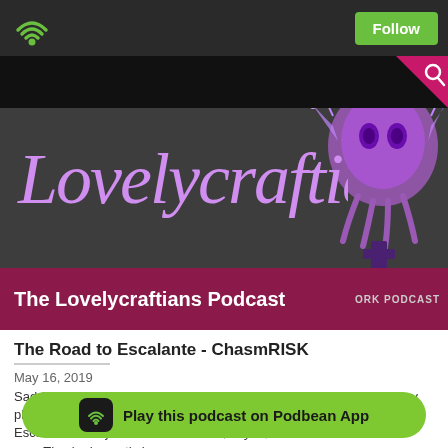[Figure (screenshot): Podbean app screenshot showing The Lovelycraftians Podcast page with WiFi icon, Follow button, podcast logo, Cthulhu illustration, episode title 'The Road to Escalante - ChasmRISK', date May 16 2019, description text, and Play this podcast on Podbean App button]
The Lovelycraftians Podcast
The Road to Escalante - ChasmRISK
May 16, 2019
Saddle up with folks from ChasmQuest and Risk Management as they play through our Wild West one-year anniversary special: The Road to Escalante. **Major thanks to Andrew, Taylor, and Steve for all of their su... They're honestly jo...
Play this podcast on Podbean App